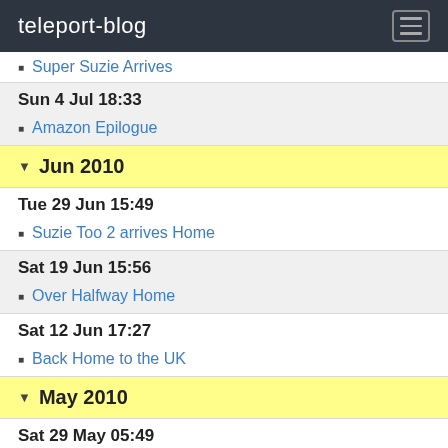teleport-blog
Super Suzie Arrives
Sun 4 Jul 18:33
Amazon Epilogue
Jun 2010
Tue 29 Jun 15:49
Suzie Too 2 arrives Home
Sat 19 Jun 15:56
Over Halfway Home
Sat 12 Jun 17:27
Back Home to the UK
May 2010
Sat 29 May 05:49
Caribbean Confusion 10.40.750N 61.38.000W
Sat 8 May 18:30
Caribbean Beach Party